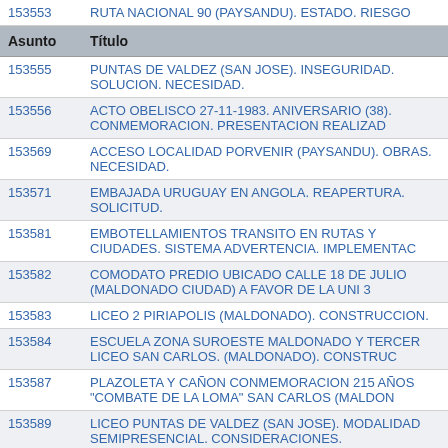| Asunto | Título |
| --- | --- |
| 153553 | RUTA NACIONAL 90 (PAYSANDU). ESTADO. RIESGO |
| 153555 | PUNTAS DE VALDEZ (SAN JOSE). INSEGURIDAD. SOLUCION. NECESIDAD. |
| 153556 | ACTO OBELISCO 27-11-1983. ANIVERSARIO (38). CONMEMORACION. PRESENTACION REALIZAD |
| 153569 | ACCESO LOCALIDAD PORVENIR (PAYSANDU). OBRAS. NECESIDAD. |
| 153571 | EMBAJADA URUGUAY EN ANGOLA. REAPERTURA. SOLICITUD. |
| 153581 | EMBOTELLAMIENTOS TRANSITO EN RUTAS Y CIUDADES. SISTEMA ADVERTENCIA. IMPLEMENTAC |
| 153582 | COMODATO PREDIO UBICADO CALLE 18 DE JULIO (MALDONADO CIUDAD) A FAVOR DE LA UNI 3 |
| 153583 | LICEO 2 PIRIAPOLIS (MALDONADO). CONSTRUCCION. |
| 153584 | ESCUELA ZONA SUROESTE MALDONADO Y TERCER LICEO SAN CARLOS. (MALDONADO). CONSTRUC |
| 153587 | PLAZOLETA Y CAÑON CONMEMORACION 215 AÑOS "COMBATE DE LA LOMA" SAN CARLOS (MALDON |
| 153589 | LICEO PUNTAS DE VALDEZ (SAN JOSE). MODALIDAD SEMIPRESENCIAL. CONSIDERACIONES. |
| 153591 | SAN JACINTO (CANELONES). ANIVERSARIO (145). |